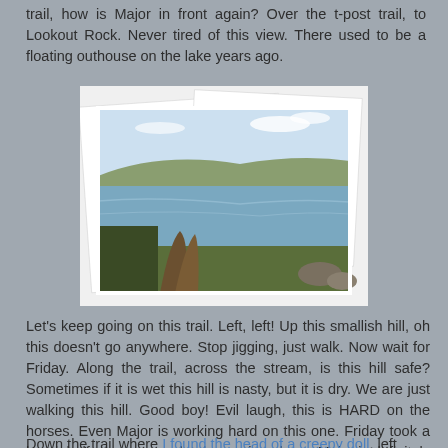trail, how is Major in front again? Over the t-post trail, to Lookout Rock. Never tired of this view. There used to be a floating outhouse on the lake years ago.
[Figure (photo): A collage of three overlapping photographs showing a panoramic lake view from a rocky overlook, with hills and shrubby vegetation in the foreground under a blue sky.]
Let's keep going on this trail. Left, left! Up this smallish hill, oh this doesn't go anywhere. Stop jigging, just walk. Now wait for Friday. Along the trail, across the stream, is this hill safe? Sometimes if it is wet this hill is nasty, but it is dry. We are just walking this hill. Good boy! Evil laugh, this is HARD on the horses. Even Major is working hard on this one. Friday took a break halfway up, completely convinced now Major is definitely trying to kill him.
Down the trail where I found the head of a creepy doll, left